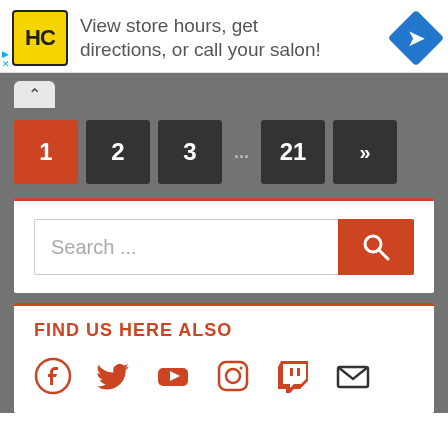[Figure (infographic): Advertisement banner: HC logo (yellow circle with HC text), text 'View store hours, get directions, or call your salon!', blue diamond navigation icon on right, with small play and close controls on left]
[Figure (infographic): Pagination controls: Page 1 (active, red/orange), pages 2, 3, ellipsis, 21, and next arrow button (all dark gray)]
[Figure (infographic): Search bar with placeholder text 'Search ...' and orange search button with magnifying glass icon]
FIND US HERE ALSO
[Figure (infographic): Social media icons row: Facebook, Twitter, YouTube, Instagram, Twitch (red icons), and Email envelope (black icon)]